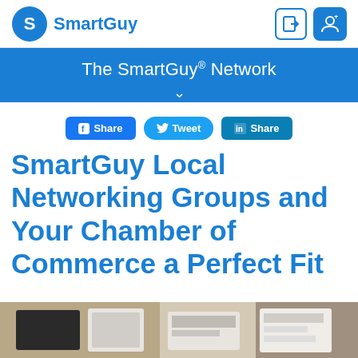SmartGuy
The SmartGuy® Network
Share | Tweet | Share
SmartGuy Local Networking Groups and Your Chamber of Commerce a Perfect Fit
[Figure (photo): Photo of business documents, notebooks, and papers on a desk]